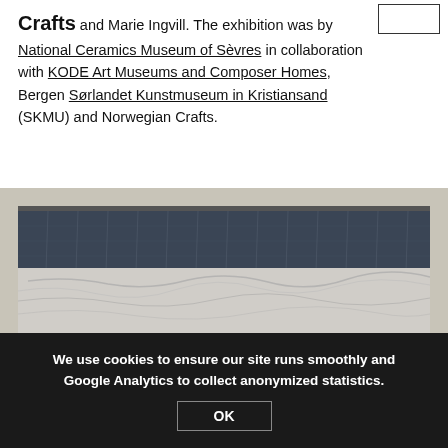Crafts and Marie Ingvill. The exhibition was by National Ceramics Museum of Sèvres in collaboration with KODE Art Museums and Composer Homes, Bergen Sørlandet Kunstmuseum in Kristiansand (SKMU) and Norwegian Crafts.
[Figure (photo): A textile or woven artwork hanging on a wall. The piece shows a large rectangular textile with dark navy/charcoal upper portion featuring subtle vertical markings, transitioning to a lighter white/grey textured lower portion. It appears to be hung from a rod.]
We use cookies to ensure our site runs smoothly and Google Analytics to collect anonymized statistics.
OK